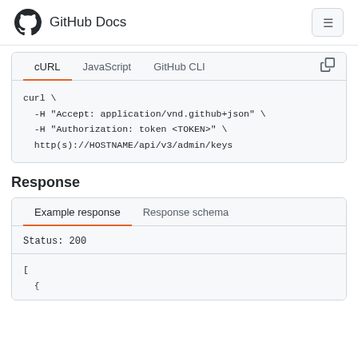GitHub Docs
cURL  JavaScript  GitHub CLI
curl \
  -H "Accept: application/vnd.github+json" \
  -H "Authorization: token <TOKEN>" \
  http(s)://HOSTNAME/api/v3/admin/keys
Response
Example response  Response schema
Status: 200
[
  {